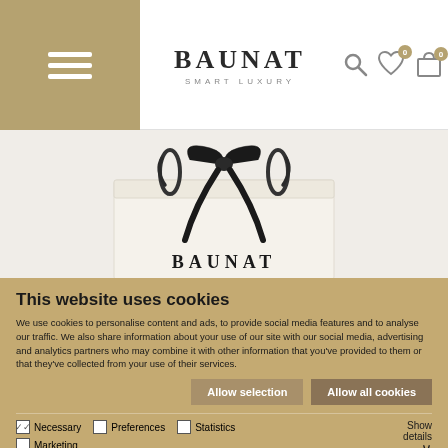BAUNAT SMART LUXURY — navigation header with hamburger menu, search, wishlist (0), cart (0)
[Figure (photo): White BAUNAT luxury shopping bag with black satin ribbon bow on top, photographed on white background]
This website uses cookies
We use cookies to personalise content and ads, to provide social media features and to analyse our traffic. We also share information about your use of our site with our social media, advertising and analytics partners who may combine it with other information that you've provided to them or that they've collected from your use of their services.
Allow selection | Allow all cookies
Necessary (checked) | Preferences | Statistics | Marketing | Show details